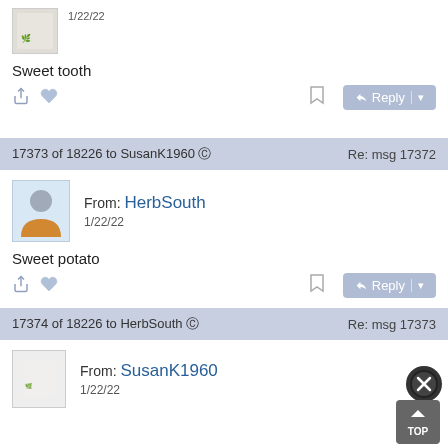1/22/22
Sweet tooth
17373 of 18226 to SusanK1960   Re: msg 17372
From: HerbSouth
1/22/22
Sweet potato
17374 of 18226 to HerbSouth   Re: msg 17373
From: SusanK1960
1/22/22